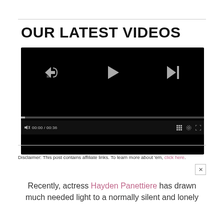OUR LATEST VIDEOS
[Figure (screenshot): A video player with black background showing playback controls: rewind 10s button, play button, skip-next button, a progress bar showing 00:00 / 00:36, mute button, grid/playlist button, settings gear button, and fullscreen button.]
Disclaimer: This post contains affiliate links. To learn more about 'em, click here.
Recently, actress Hayden Panettiere has drawn much needed light to a normally silent and lonely